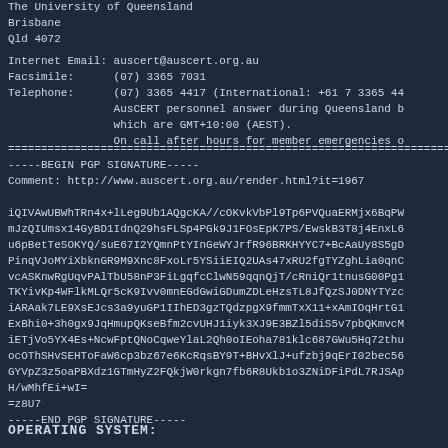The University of Queensland
Brisbane
Qld 4072
Internet Email: auscert@auscert.org.au
Facsimile:      (07) 3365 7031
Telephone:      (07) 3365 4417 (International: +61 7 3365 44
                AusCERT personnel answer during Queensland b
                which are GMT+10:00 (AEST).
                On call after hours for member emergencies o
================================================================================
-----BEGIN PGP SIGNATURE-----
Comment: http://www.auscert.org.au/render.html?it=1967

iQIVAwUBWhTRn4x+lLeg9Ub1AQgcKA//cOKvkVbPl9Tp6PVQuaERMjx6BqPW
mJzQIUmsx14GyBD1IdnQ29hsFLSp4PGk9J1FOsEpK7PS/EwskB3T8j4EnxL6
u6pBetTeSOKYQ/suE67I2YQmnPtYInGeWYJrfR96BRKHYYC7+BcAaUy8S5gD
PinqVJoMYiXbknGR9M9Xnc8FxoLr5YSiiEIQ2UAs47xRU2fgTYZghLia0qnC
vcASKnwRgUqvPAlTbU58nP3FiLgqfcClwN59qqnQjT/cRniQr1tnusG00Pg1
TKYivKp4WFlkMLQr5cK9Ivv0mnEGdGwiGDumZDLeHzsTL8JfQzSJ0DNYTYzc
iARAak7LE9XsEJcs3a9yuGP1IIhED3gzTQdzpgX9fmmTxX11+xAmIOqHrtG1
ExBhi0+3h0gx9JqHmupQKseBfm2cvUHJ1iyk3XJ9E3BZl5diS5v7pbQKmvcM
iETjVo5YX4Es+NcwFptQNoCqweYlaL2Qh0oIEoha781klc687GWu5Hq72thu
ocOThSHvSEHToFaW6cp3bz67e6KcRqsBY9T+BHvXlJ+ufzbj9qErI02bec56
GYVpZ3z5oaPBXdz1GTmHyZ2FQkjW0rkgn7fb6R8Ukb1o3ZNiDFiPdL7RJSAp
H/wMhfEi+wI=
=z8U7
-----END PGP SIGNATURE-----
OPERATING SYSTEM: